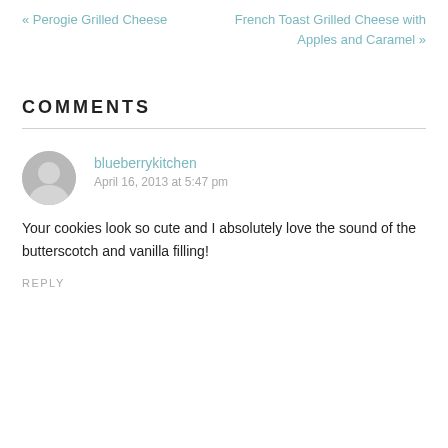« Perogie Grilled Cheese
French Toast Grilled Cheese with Apples and Caramel »
COMMENTS
blueberrykitchen
April 16, 2013 at 5:47 pm
Your cookies look so cute and I absolutely love the sound of the butterscotch and vanilla filling!
REPLY